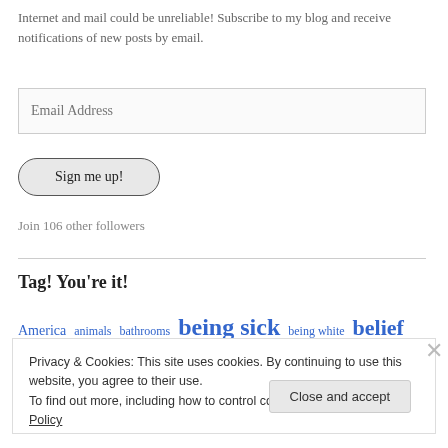Internet and mail could be unreliable! Subscribe to my blog and receive notifications of new posts by email.
[Figure (other): Email address input field with placeholder text 'Email Address']
[Figure (other): Button labeled 'Sign me up!']
Join 106 other followers
Tag! You're it!
America animals bathrooms being sick being white belief books
Privacy & Cookies: This site uses cookies. By continuing to use this website, you agree to their use.
To find out more, including how to control cookies, see here: Cookie Policy
Close and accept